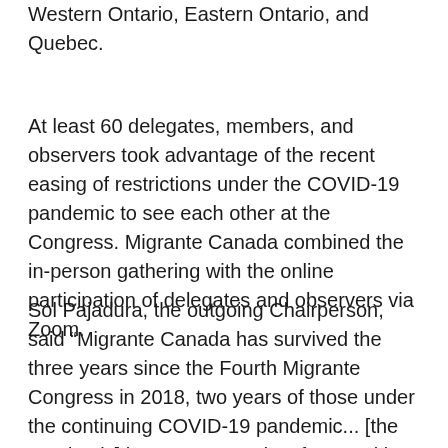Western Ontario, Eastern Ontario, and Quebec.
At least 60 delegates, members, and observers took advantage of the recent easing of restrictions under the COVID-19 pandemic to see each other at the Congress. Migrante Canada combined the in-person gathering with the online participation of delegates and observers via Zoom.
Sol Pajadura, the outgoing Chairperson, said “Migrante Canada has survived the three years since the Fourth Migrante Congress in 2018, two years of those under the continuing COVID-19 pandemic... [the pandemic] has not stopped us from making our presence